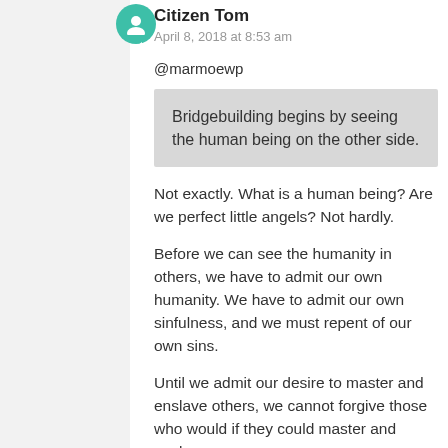Citizen Tom
April 8, 2018 at 8:53 am
@marmoewp
Bridgebuilding begins by seeing the human being on the other side.
Not exactly. What is a human being? Are we perfect little angels? Not hardly.
Before we can see the humanity in others, we have to admit our own humanity. We have to admit our own sinfulness, and we must repent of our own sins.
Until we admit our desire to master and enslave others, we cannot forgive those who would if they could master and enslave us.